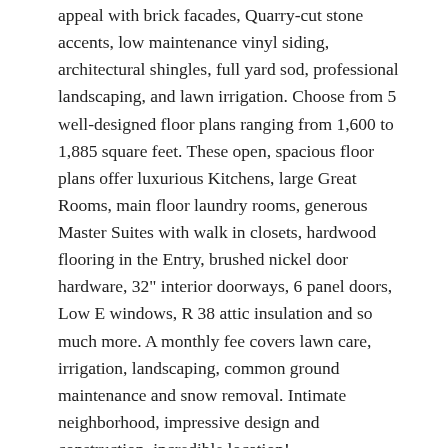appeal with brick facades, Quarry-cut stone accents, low maintenance vinyl siding, architectural shingles, full yard sod, professional landscaping, and lawn irrigation. Choose from 5 well-designed floor plans ranging from 1,600 to 1,885 square feet. These open, spacious floor plans offer luxurious Kitchens, large Great Rooms, main floor laundry rooms, generous Master Suites with walk in closets, hardwood flooring in the Entry, brushed nickel door hardware, 32" interior doorways, 6 panel doors, Low E windows, R 38 attic insulation and so much more. A monthly fee covers lawn care, irrigation, landscaping, common ground maintenance and snow removal. Intimate neighborhood, impressive design and construction, incredible location!
Room Features
Bedroom: 10x14, Flooring: Carpeting
Dining Room: 14x10, Flooring: Carpeting
Great Room: 18x15, Flooring: Carpeting